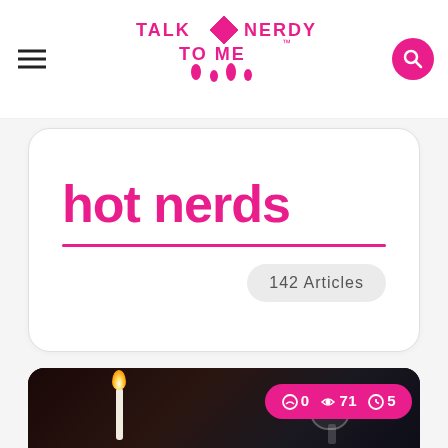TALK NERDY TO ME
hot nerds
142 Articles
[Figure (photo): Dark restaurant/bar scene with a lit candle, wine glass, and blurred figures in the background. Stats overlay shows: 0 comments, 71 shares, 5 views.]